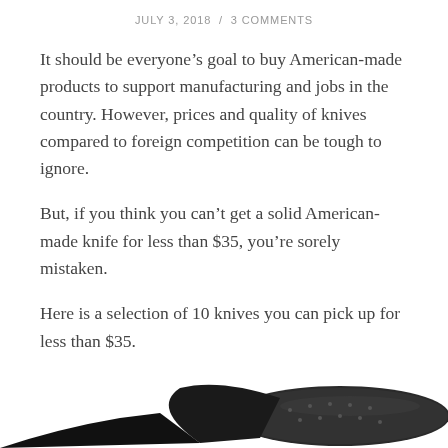JULY 3, 2018 / 3 COMMENTS
It should be everyone’s goal to buy American-made products to support manufacturing and jobs in the country. However, prices and quality of knives compared to foreign competition can be tough to ignore.
But, if you think you can’t get a solid American-made knife for less than $35, you’re sorely mistaken.
Here is a selection of 10 knives you can pick up for less than $35.
Gerber E-Z Out Skeleton
[Figure (photo): A black folding knife (Gerber E-Z Out Skeleton) partially visible at the bottom of the page, showing a textured black handle and blade]